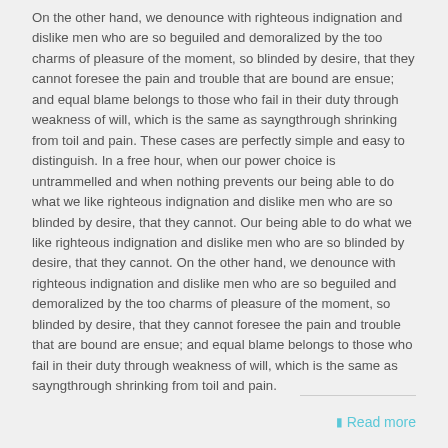On the other hand, we denounce with righteous indignation and dislike men who are so beguiled and demoralized by the too charms of pleasure of the moment, so blinded by desire, that they cannot foresee the pain and trouble that are bound are ensue; and equal blame belongs to those who fail in their duty through weakness of will, which is the same as sayngthrough shrinking from toil and pain. These cases are perfectly simple and easy to distinguish. In a free hour, when our power choice is untrammelled and when nothing prevents our being able to do what we like righteous indignation and dislike men who are so blinded by desire, that they cannot. Our being able to do what we like righteous indignation and dislike men who are so blinded by desire, that they cannot. On the other hand, we denounce with righteous indignation and dislike men who are so beguiled and demoralized by the too charms of pleasure of the moment, so blinded by desire, that they cannot foresee the pain and trouble that are bound are ensue; and equal blame belongs to those who fail in their duty through weakness of will, which is the same as sayngthrough shrinking from toil and pain.
Read more